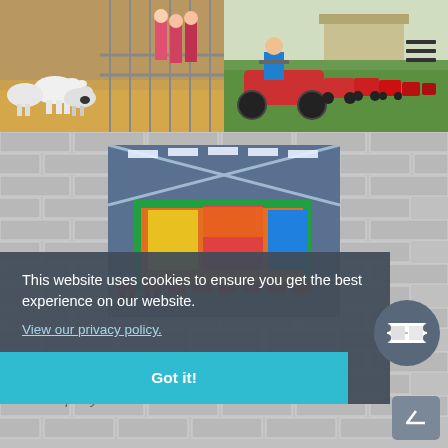[Figure (photo): Children viewing white goats in a farm pen with hay on the ground]
[Figure (photo): Person riding a red quad/ATV bike on grass with a line of similar bikes in background]
[Figure (photo): Indoor children's play area with colorful climbing frames inside a large barn/warehouse]
This website uses cookies to ensure you get the best experience on our website.
View our privacy policy.
Got it!
Company Details